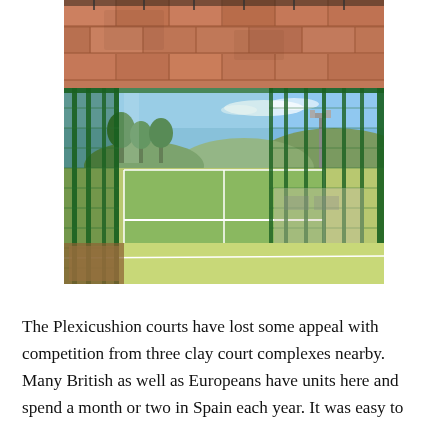[Figure (photo): Two photos stacked vertically. Top photo shows a close-up of terracotta/clay paving tiles. Bottom photo shows a padel or tennis court with green artificial turf surface, enclosed by green metal fence/cage structure, with trees and mountains visible in the background under a blue sky.]
The Plexicushion courts have lost some appeal with competition from three clay court complexes nearby. Many British as well as Europeans have units here and spend a month or two in Spain each year. It was easy to